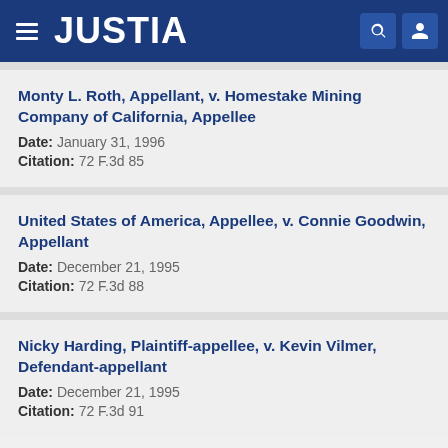JUSTIA
Monty L. Roth, Appellant, v. Homestake Mining Company of California, Appellee
Date: January 31, 1996
Citation: 72 F.3d 85
United States of America, Appellee, v. Connie Goodwin, Appellant
Date: December 21, 1995
Citation: 72 F.3d 88
Nicky Harding, Plaintiff-appellee, v. Kevin Vilmer, Defendant-appellant
Date: December 21, 1995
Citation: 72 F.3d 91